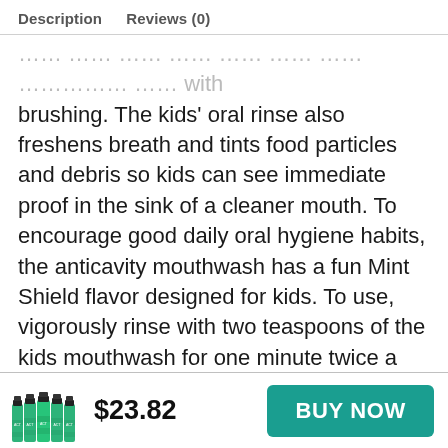Description   Reviews (0)
brushing. The kids' oral rinse also freshens breath and tints food particles and debris so kids can see immediate proof in the sink of a cleaner mouth. To encourage good daily oral hygiene habits, the anticavity mouthwash has a fun Mint Shield flavor designed for kids. To use, vigorously rinse with two teaspoons of the kids mouthwash for one minute twice a day.
Product Dimensions:1.95 x 3.59 x 8.83 inches; 1.25 Pounds
Manufacturer:Johnson & Johnson
[Figure (photo): Green mouthwash bottles product image]
$23.82
BUY NOW